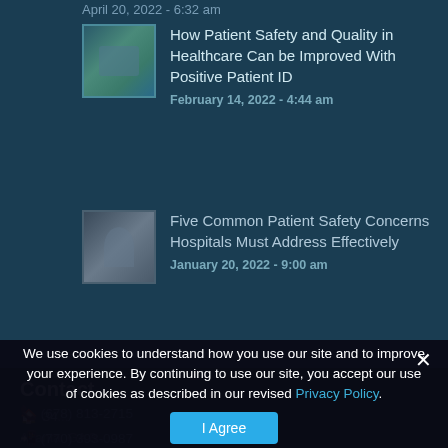April 20, 2022 - 6:32 am
[Figure (photo): Thumbnail image related to patient safety in healthcare]
How Patient Safety and Quality in Healthcare Can be Improved With Positive Patient ID
February 14, 2022 - 4:44 am
[Figure (photo): Thumbnail image related to patient safety concerns]
Five Common Patient Safety Concerns Hospitals Must Address Effectively
January 20, 2022 - 9:00 am
Contact
We use cookies to understand how you use our site and to improve your experience. By continuing to use our site, you accept our use of cookies as described in our revised Privacy Policy.
I Agree
(678) 813-2715
(770) 393-0987